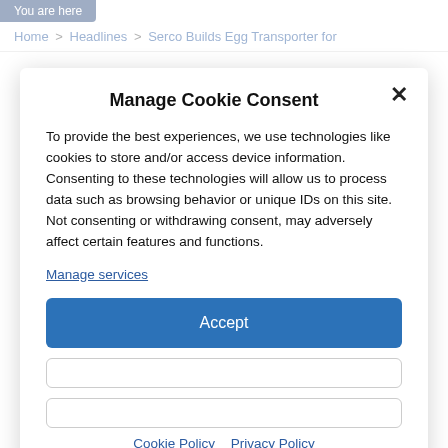You are here
Home > Headlines > Serco Builds Egg Transporter for
Manage Cookie Consent
To provide the best experiences, we use technologies like cookies to store and/or access device information. Consenting to these technologies will allow us to process data such as browsing behavior or unique IDs on this site. Not consenting or withdrawing consent, may adversely affect certain features and functions.
Manage services
Accept
Cookie Policy  Privacy Policy